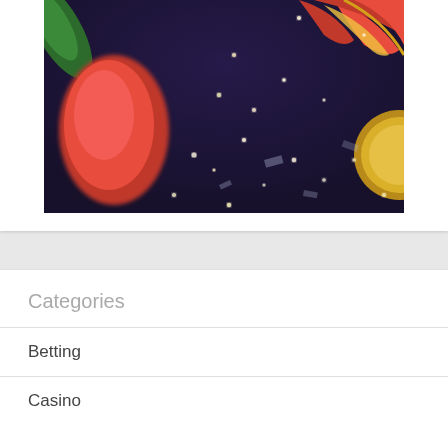[Figure (photo): Casino-themed image with a dark purple/navy background showing glowing light spots scattered across the scene, with a red chili pepper or similar red object on the left, green leaves visible at upper left, a red and gold decorative element at upper right, and a yellow/gold circular element at far right. The overall aesthetic is a casino slot game visual.]
Categories
Betting
Casino